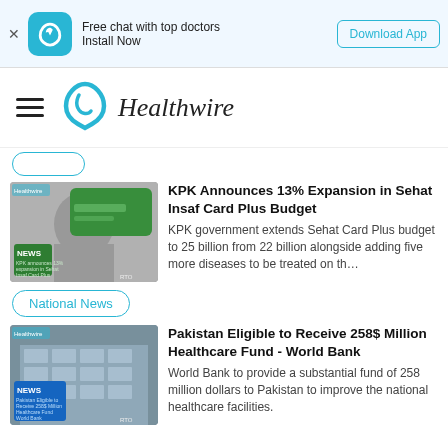Free chat with top doctors Install Now | Download App
Healthwire
KPK Announces 13% Expansion in Sehat Insaf Card Plus Budget — KPK government extends Sehat Card Plus budget to 25 billion from 22 billion alongside adding five more diseases to be treated on th…
National News
Pakistan Eligible to Receive 258$ Million Healthcare Fund - World Bank — World Bank to provide a substantial fund of 258 million dollars to Pakistan to improve the national healthcare facilities.